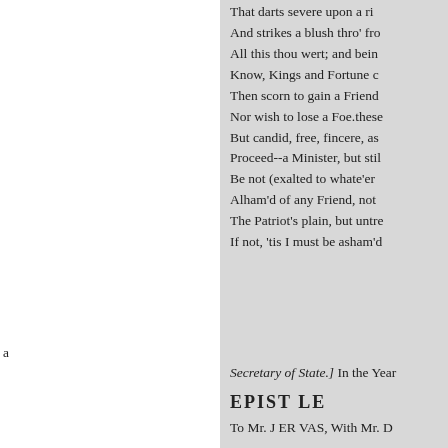That darts severe upon a ri...
And strikes a blush thro' fro...
All this thou wert; and bein...
Know, Kings and Fortune c...
Then scorn to gain a Friend...
Nor wish to lose a Foe.these...
But candid, free, fincere, as...
Proceed--a Minister, but stil...
Be not (exalted to whate'er ...
Alham'd of any Friend, not ...
The Patriot's plain, but untr...
If not, 'tis I must be asham'd
a
Secretary of State.] In the Year...
EPIST LE
To Mr. J ER VAS, With Mr. D...
FRESNOY's Art of Painting.
THis verife be things